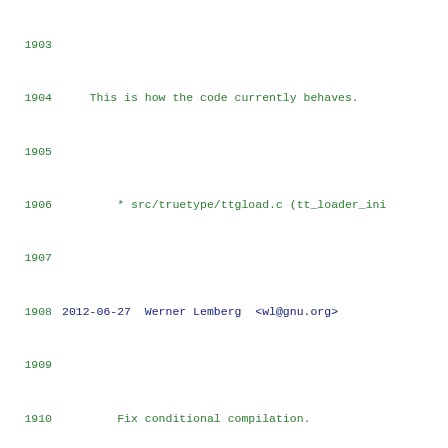Source code changelog/diff view, lines 1903-1924
1903 (blank)
1904     This is how the code currently behaves.
1905 (blank)
1906     * src/truetype/ttgload.c (tt_loader_ini...
1907 (blank)
1908 2012-06-27  Werner Lemberg  <wl@gnu.org>
1909 (blank)
1910         Fix conditional compilation.
1911 (blank)
1912         * src/base/basepic.c: Use FT_CONFIG_OPT...
1913 (blank)
1914 2012-06-27  Werner Lemberg  <wl@gnu.org>
1915 (blank)
1916         Fix conditional compilation.
1917 (blank)
1918         * include/freetype/internal/ftcalc.h (F...
1919         enclose with `TT_USE_BYTECODE_INTERPRET...
1920         elsewhere also.
1921 (blank)
1922         * src/autofit/afcjk.h: Use AF_CONFIG_OP...
1923 (blank)
1924         * src/truetype/ttgload.c (tt_loader_ini...